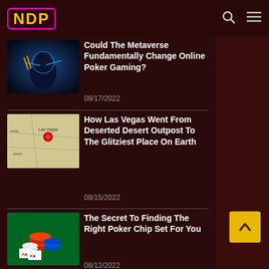NDP
Could The Metaverse Fundamentally Change Online Poker Gaming?
08/17/2022
How Las Vegas Went From Deserted Desert Outpost To The Glitziest Place On Earth
08/15/2022
The Secret To Finding The Right Poker Chip Set For You
08/12/2022
What Virtual